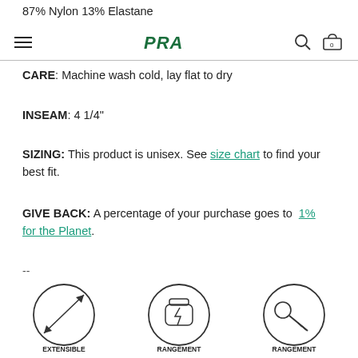87% Nylon 13% Elastane
PRAISE (logo/nav header)
CARE: Machine wash cold, lay flat to dry
INSEAM: 4 1/4"
SIZING: This product is unisex. See size chart to find your best fit.
GIVE BACK: A percentage of your purchase goes to 1% for the Planet.
--
[Figure (infographic): Three circular icons: stretch arrow icon labeled EXTENSIBLE DANS LES 2 SENS, gel bottle with lightning bolt labeled RANGEMENT POUR GEL, key icon labeled RANGEMENT POUR CLÉS. Partial circles of a second row visible at bottom.]